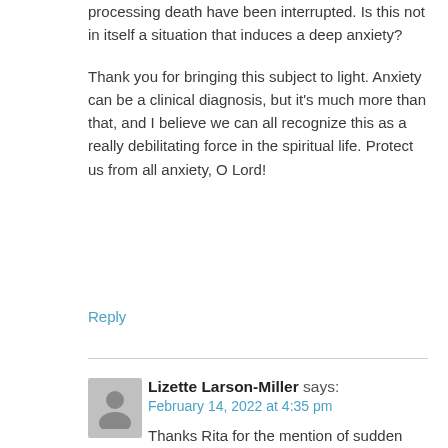processing death have been interrupted. Is this not in itself a situation that induces a deep anxiety?
Thank you for bringing this subject to light. Anxiety can be a clinical diagnosis, but it's much more than that, and I believe we can all recognize this as a really debilitating force in the spiritual life. Protect us from all anxiety, O Lord!
Reply
Lizette Larson-Miller says:
February 14, 2022 at 4:35 pm
Thanks Rita for the mention of sudden death...a whole different topic, but I talk to so many people who see that, rather than a